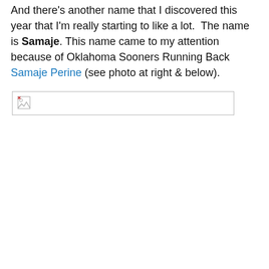And there's another name that I discovered this year that I'm really starting to like a lot.  The name is Samaje. This name came to my attention because of Oklahoma Sooners Running Back Samaje Perine (see photo at right & below).
[Figure (photo): Broken image placeholder box (photo of Samaje Perine, failed to load)]